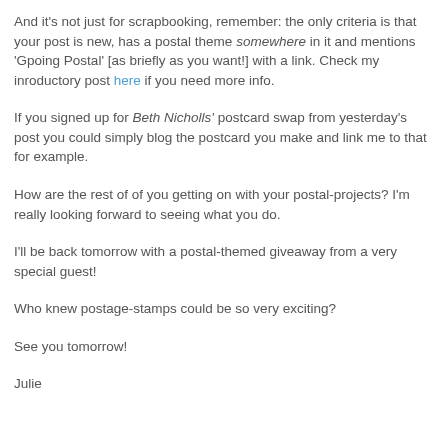And it's not just for scrapbooking, remember: the only criteria is that your post is new, has a postal theme somewhere in it and mentions 'Gpoing Postal' [as briefly as you want!] with a link. Check my inroductory post here if you need more info.
If you signed up for Beth Nicholls' postcard swap from yesterday's post you could simply blog the postcard you make and link me to that for example.
How are the rest of of you getting on with your postal-projects? I'm really looking forward to seeing what you do.
I'll be back tomorrow with a postal-themed giveaway from a very special guest!
Who knew postage-stamps could be so very exciting?
See you tomorrow!
Julie